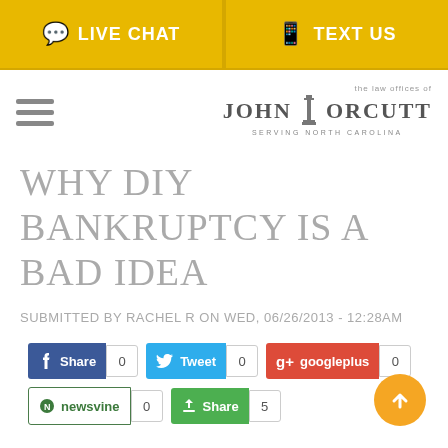LIVE CHAT | TEXT US
[Figure (logo): The Law Offices of John T. Orcutt - Serving North Carolina logo with column icon]
WHY DIY BANKRUPTCY IS A BAD IDEA
SUBMITTED BY RACHEL R ON WED, 06/26/2013 - 12:28AM
[Figure (infographic): Social sharing buttons: Facebook Share (0), Tweet (0), Google+ googleplus (0), Newsvine (0), Share (5)]